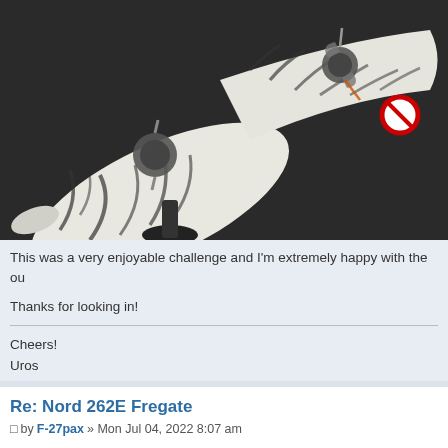[Figure (photo): Close-up photo of a white with black tiger-stripe pattern model aircraft (likely Nord 262E Fregate) on a dark background. The model has two propeller engines visible and a red circular marking on the fuselage.]
This was a very enjoyable challenge and I'm extremely happy with the ou
Thanks for looking in!
Cheers!
Uros
Re: Nord 262E Fregate
by F-27pax » Mon Jul 04, 2022 8:07 am
This model is very impressive and shows off your skills magnificently. I al forward to seeing your work and if I don't respond it's because what you a often leaves me speechless.